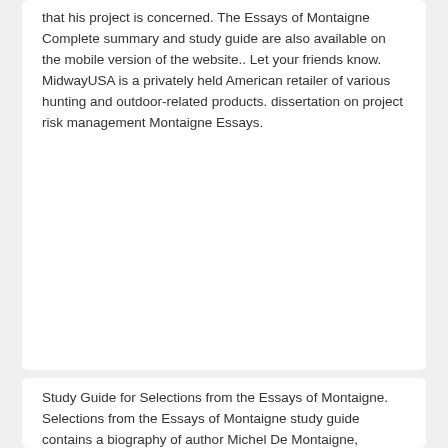that his project is concerned. The Essays of Montaigne Complete summary and study guide are also available on the mobile version of the website.. Let your friends know. MidwayUSA is a privately held American retailer of various hunting and outdoor-related products. dissertation on project risk management Montaigne Essays.
Study Guide for Selections from the Essays of Montaigne. Selections from the Essays of Montaigne study guide contains a biography of author Michel De Montaigne, literature essays, a complete e-text, quiz questions, major themes, characters, and a full summary and analysis. About Selections from the Essays of Montaigne.